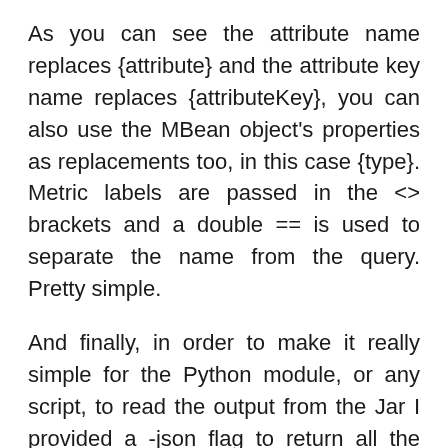As you can see the attribute name replaces {attribute} and the attribute key name replaces {attributeKey}, you can also use the MBean object's properties as replacements too, in this case {type}. Metric labels are passed in the <> brackets and a double == is used to separate the name from the query. Pretty simple.
And finally, in order to make it really simple for the Python module, or any script, to read the output from the Jar I provided a -json flag to return all the results as JSON so it could be easily parsed.
While writing the Jar I noticed that it was very similar to the Prometheus Java Exporter in the way you configure queries, metric names and labels, and may in future make it compatible so it's easily to copy Prometheus JMX exporter configuration files when building integration.